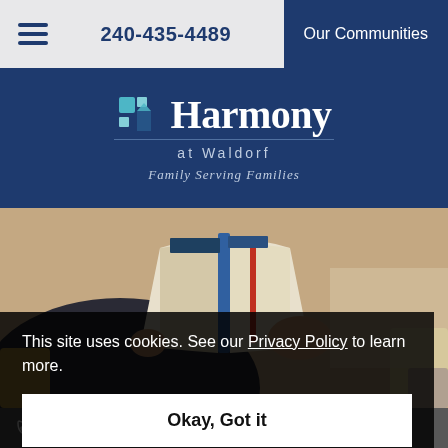240-435-4489 | Our Communities
Harmony at Waldorf — Family Serving Families
[Figure (photo): Person sitting and reading an open book, photographed from the side in warm ambient light]
This site uses cookies. See our Privacy Policy to learn more.
Okay, Got it
240-435-4489   Email